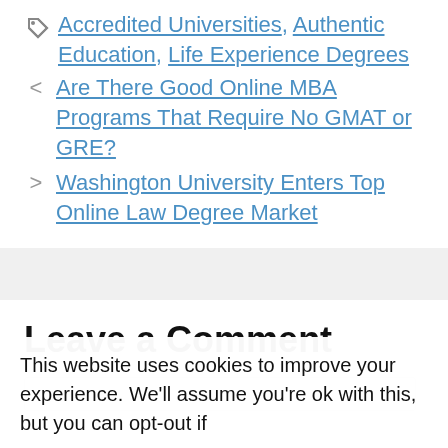Tags: Accredited Universities, Authentic Education, Life Experience Degrees
< Are There Good Online MBA Programs That Require No GMAT or GRE?
> Washington University Enters Top Online Law Degree Market
Leave a Comment
This website uses cookies to improve your experience. We'll assume you're ok with this, but you can opt-out if